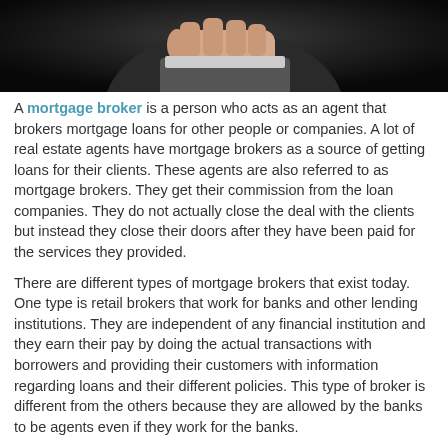[Figure (photo): A person in a suit with fist raised, dark background]
A mortgage broker is a person who acts as an agent that brokers mortgage loans for other people or companies. A lot of real estate agents have mortgage brokers as a source of getting loans for their clients. These agents are also referred to as mortgage brokers. They get their commission from the loan companies. They do not actually close the deal with the clients but instead they close their doors after they have been paid for the services they provided.
There are different types of mortgage brokers that exist today. One type is retail brokers that work for banks and other lending institutions. They are independent of any financial institution and they earn their pay by doing the actual transactions with borrowers and providing their customers with information regarding loans and their different policies. This type of broker is different from the others because they are allowed by the banks to be agents even if they work for the banks.
There is another type of mortgage broker which is called a loan officer. These are officers of a certain financial institution that works in conjunction with the banks and they handle loan applications. In this type, the brokers